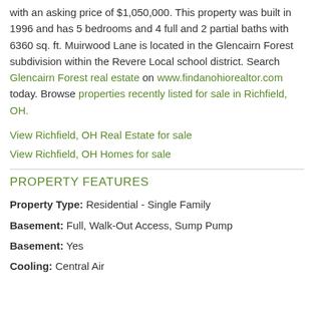with an asking price of $1,050,000. This property was built in 1996 and has 5 bedrooms and 4 full and 2 partial baths with 6360 sq. ft. Muirwood Lane is located in the Glencairn Forest subdivision within the Revere Local school district. Search Glencairn Forest real estate on www.findanohiorealtor.com today. Browse properties recently listed for sale in Richfield, OH.
View Richfield, OH Real Estate for sale
View Richfield, OH Homes for sale
PROPERTY FEATURES
Property Type: Residential - Single Family
Basement: Full, Walk-Out Access, Sump Pump
Basement: Yes
Cooling: Central Air